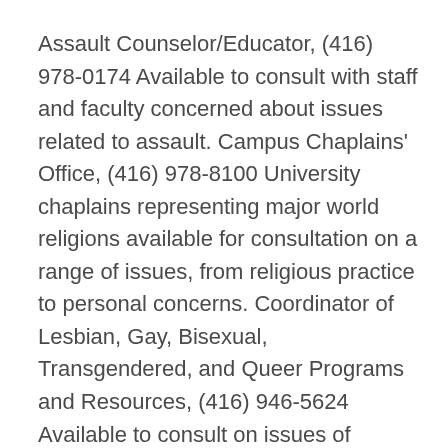Assault Counselor/Educator, (416) 978-0174 Available to consult with staff and faculty concerned about issues related to assault. Campus Chaplains' Office, (416) 978-8100 University chaplains representing major world religions available for consultation on a range of issues, from religious practice to personal concerns. Coordinator of Lesbian, Gay, Bisexual, Transgendered, and Queer Programs and Resources, (416) 946-5624 Available to consult on issues of concern to the LGBTQ community. Counselor, International